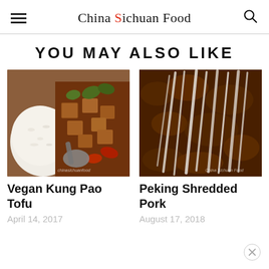China Sichuan Food
YOU MAY ALSO LIKE
[Figure (photo): Close-up photo of Vegan Kung Pao Tofu with rice, colorful peppers and a spoon]
[Figure (photo): Close-up photo of Peking Shredded Pork with white shredded strips on top of dark meat]
Vegan Kung Pao Tofu
Peking Shredded Pork
April 14, 2017
August 17, 2018